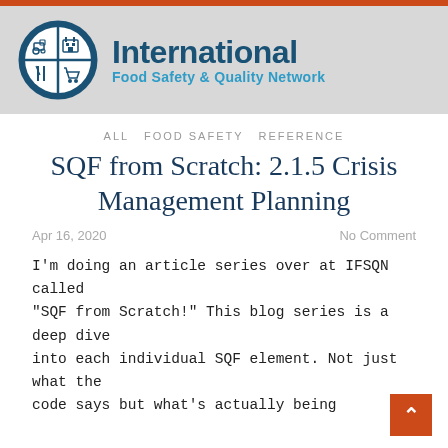[Figure (logo): International Food Safety & Quality Network logo with circle icon showing tractor, factory, fork, and shopping cart quadrants in dark blue, alongside the organization name in blue text.]
ALL  FOOD SAFETY  REFERENCE
SQF from Scratch: 2.1.5 Crisis Management Planning
Apr 16, 2020
No Comment
I'm doing an article series over at IFSQN called "SQF from Scratch!" This blog series is a deep dive into each individual SQF element. Not just what the code says but what's actually being